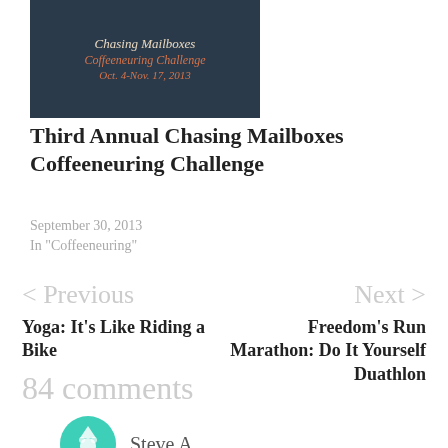[Figure (photo): Chasing Mailboxes Coffeeneuring Challenge blog post thumbnail image with text overlay on dark background. Text reads: Chasing Mailboxes Coffeeneuring Challenge Oct. 4-Nov. 17, 2013]
Third Annual Chasing Mailboxes Coffeeneuring Challenge
September 30, 2013
In "Coffeeneuring"
< Previous
Next >
Yoga: It's Like Riding a Bike
Freedom's Run Marathon: Do It Yourself Duathlon
84 comments
Steve A